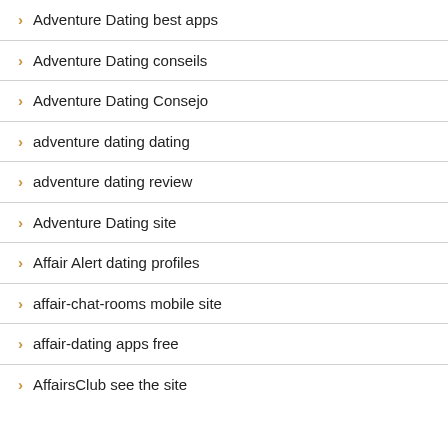Adventure Dating best apps
Adventure Dating conseils
Adventure Dating Consejo
adventure dating dating
adventure dating review
Adventure Dating site
Affair Alert dating profiles
affair-chat-rooms mobile site
affair-dating apps free
AffairsClub see the site